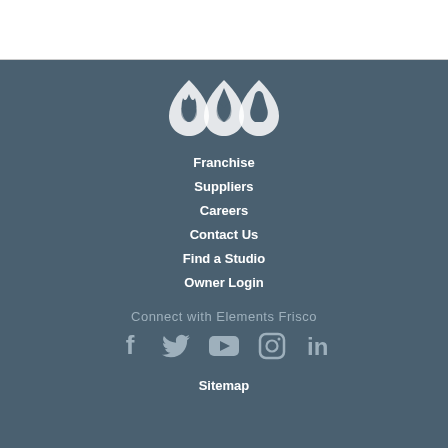[Figure (logo): Three stylized teardrop/flame icons in white, representing the Elements Frisco logo]
Franchise
Suppliers
Careers
Contact Us
Find a Studio
Owner Login
Connect with Elements Frisco
[Figure (illustration): Social media icons: Facebook, Twitter, YouTube, Instagram, LinkedIn]
Sitemap